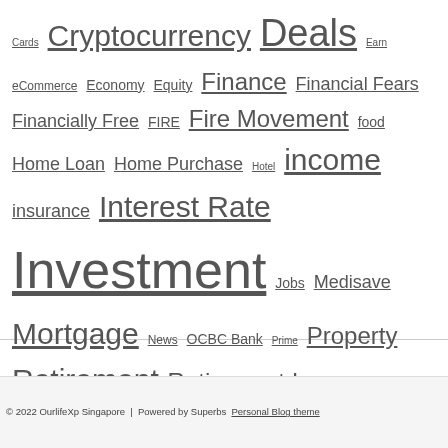Cards Cryptocurrency Deals Earn eCommerce Economy Equity Finance Financial Fears Financially Free FIRE Fire Movement food Home Loan Home Purchase Hotel income insurance Interest Rate Investment Jobs Medisave Mortgage News OCBC Bank Prime Property Retirement Retirement Income Sales Save Savings Savings Account Singapore Singaporean Singapore Bank singapore sme stock market Stock Trading Travel
© 2022 OurlifeXp Singapore | Powered by Superbs Personal Blog theme